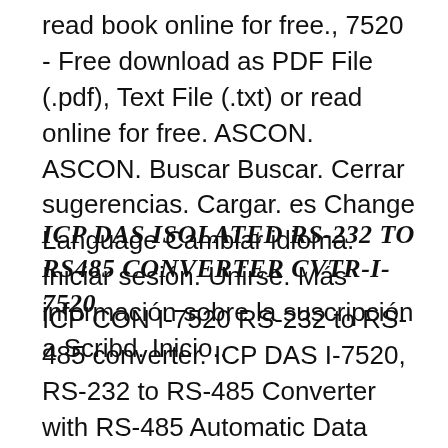read book online for free., 7520 - Free download as PDF File (.pdf), Text File (.txt) or read online for free. ASCON. ASCON. Buscar Buscar. Cerrar sugerencias. Cargar. es Change Language Cambiar idioma. Iniciar sesión. Unirse. Más información sobre la suscripción a Scribd. Inicio..
ICP DAS ISOLATED RS-232 TO RS485 CONVERTER CVTR-I-7520
ICP CON I-7520 RS-232 to RS-485 converter. ICP DAS I-7520, RS-232 to RS-485 Converter with RS-485 Automatic Data Direction Control, Isolation Protection, without cable CA-0915. All kind of ICP-DAS I-7000/tM RS-485 Isolated Repeaters Qualified support Large stock Warranty, AIRLINK ETHERNET WINDOWS 10 DRIVERS DOWNLOAD [cont.]